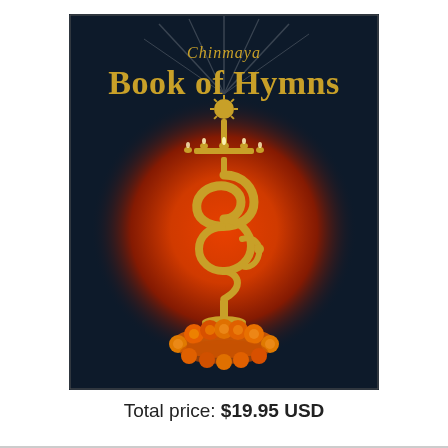[Figure (photo): Book cover of 'Chinmaya Book of Hymns' showing a dark navy background with the title text at top (Chinmaya in italic gold, Book of Hymns in large gold serif text), a large circular reddish-orange glowing background, and a tall golden decorative oil lamp (deepam) with snake-like coils and a flower garland base at the bottom, with a sunburst finial at the top.]
Total price: $19.95 USD